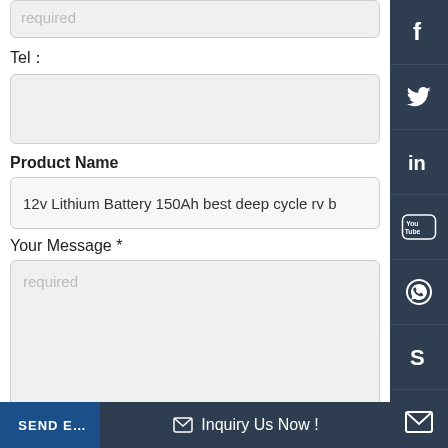required
Tel：
Product Name
12v Lithium Battery 150Ah best deep cycle rv b
Your Message *
required
SEND E…
✉ Inquiry Us Now !